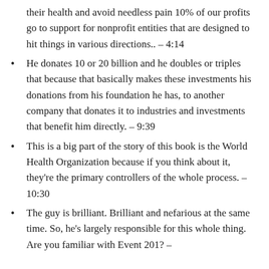their health and avoid needless pain 10% of our profits go to support for nonprofit entities that are designed to hit things in various directions.. – 4:14
He donates 10 or 20 billion and he doubles or triples that because that basically makes these investments his donations from his foundation he has, to another company that donates it to industries and investments that benefit him directly. – 9:39
This is a big part of the story of this book is the World Health Organization because if you think about it, they're the primary controllers of the whole process. – 10:30
The guy is brilliant. Brilliant and nefarious at the same time. So, he's largely responsible for this whole thing. Are you familiar with Event 201? –